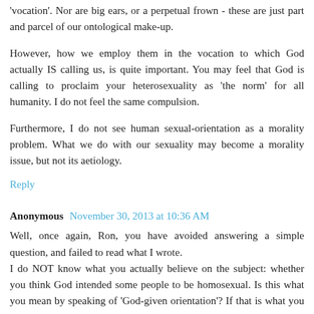'vocation'. Nor are big ears, or a perpetual frown - these are just part and parcel of our ontological make-up.
However, how we employ them in the vocation to which God actually IS calling us, is quite important. You may feel that God is calling to proclaim your heterosexuality as 'the norm' for all humanity. I do not feel the same compulsion.
Furthermore, I do not see human sexual-orientation as a morality problem. What we do with our sexuality may become a morality issue, but not its aetiology.
Reply
Anonymous  November 30, 2013 at 10:36 AM
Well, once again, Ron, you have avoided answering a simple question, and failed to read what I wrote. I do NOT know what you actually believe on the subject: whether you think God intended some people to be homosexual. Is this what you mean by speaking of 'God-given orientation'? If that is what you believe, do you think ALL sexual orientations are 'God given' or only some? And